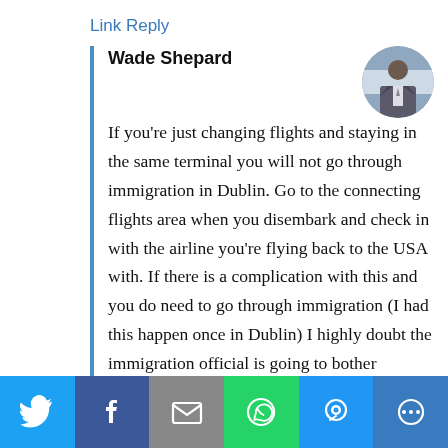Link Reply
Wade Shepard
If you're just changing flights and staying in the same terminal you will not go through immigration in Dublin. Go to the connecting flights area when you disembark and check in with the airline you're flying back to the USA with. If there is a complication with this and you do need to go through immigration (I had this happen once in Dublin) I highly doubt the immigration official is going to bother
[Figure (photo): Circular avatar photo of Wade Shepard, a man in a grey suit jacket, standing in front of a blurred background.]
[Figure (infographic): Social share bar with buttons: Twitter (blue), Facebook (dark blue), Email (grey), WhatsApp (green), SMS (blue), More (blue)]